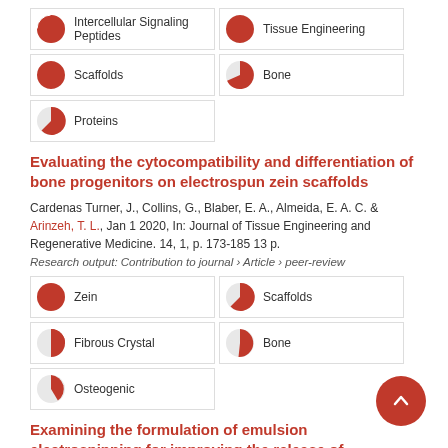100% Intercellular Signaling Peptides
100% Tissue Engineering
100% Scaffolds
79% Bone
68% Proteins
Evaluating the cytocompatibility and differentiation of bone progenitors on electrospun zein scaffolds
Cardenas Turner, J., Collins, G., Blaber, E. A., Almeida, E. A. C. & Arinzeh, T. L., Jan 1 2020, In: Journal of Tissue Engineering and Regenerative Medicine. 14, 1, p. 173-185 13 p.
Research output: Contribution to journal › Article › peer-review
100% Zein
68% Scaffolds
56% Fibrous Crystal
54% Bone
28% Osteogenic
Examining the formulation of emulsion electrospinning for improving the release of...